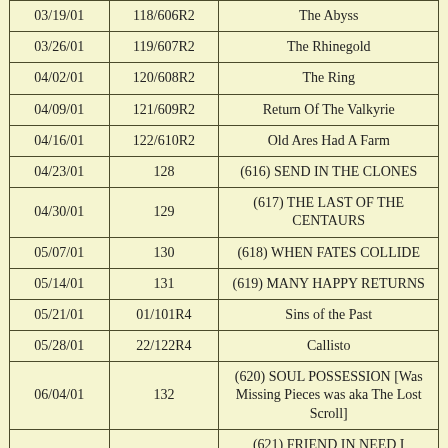| 03/19/01 | 118/606R2 | The Abyss |
| 03/26/01 | 119/607R2 | The Rhinegold |
| 04/02/01 | 120/608R2 | The Ring |
| 04/09/01 | 121/609R2 | Return Of The Valkyrie |
| 04/16/01 | 122/610R2 | Old Ares Had A Farm |
| 04/23/01 | 128 | (616) SEND IN THE CLONES |
| 04/30/01 | 129 | (617) THE LAST OF THE CENTAURS |
| 05/07/01 | 130 | (618) WHEN FATES COLLIDE |
| 05/14/01 | 131 | (619) MANY HAPPY RETURNS |
| 05/21/01 | 01/101R4 | Sins of the Past |
| 05/28/01 | 22/122R4 | Callisto |
| 06/04/01 | 132 | (620) SOUL POSSESSION [Was Missing Pieces was aka The Lost Scroll] |
|  |  | (621) FRIEND IN NEED I |